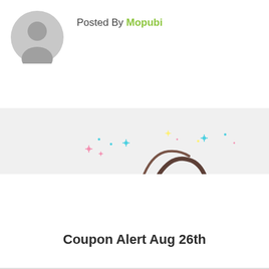[Figure (illustration): Gray default user avatar icon (silhouette of person in circle)]
Posted By Mopubi
[Figure (illustration): Light gray banner strip with colorful sparkle/star decorations and partial donut/food imagery visible at bottom]
Coupon Alert Aug 26th